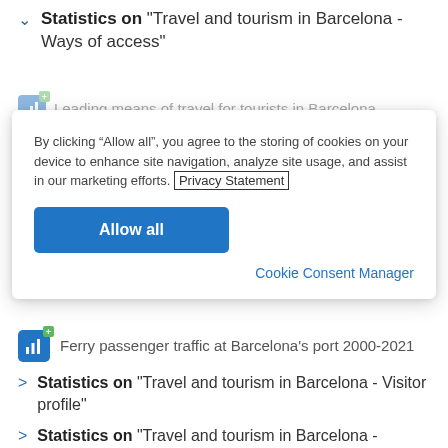Statistics on "Travel and tourism in Barcelona - Ways of access"
Leading means of travel for tourists in Barcelona
By clicking “Allow all”, you agree to the storing of cookies on your device to enhance site navigation, analyze site usage, and assist in our marketing efforts. Privacy Statement
Allow all
Cookie Consent Manager
Ferry passenger traffic at Barcelona's port 2000-2021
Statistics on "Travel and tourism in Barcelona - Visitor profile"
Statistics on "Travel and tourism in Barcelona -